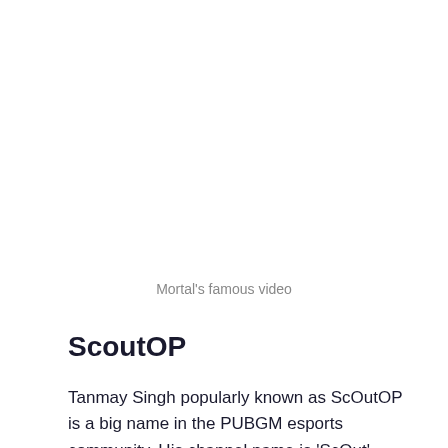Mortal's famous video
ScoutOP
Tanmay Singh popularly known as ScOutOP is a big name in the PUBGM esports community. His channel name is 'ScOut' 2.47M subscribers. He is